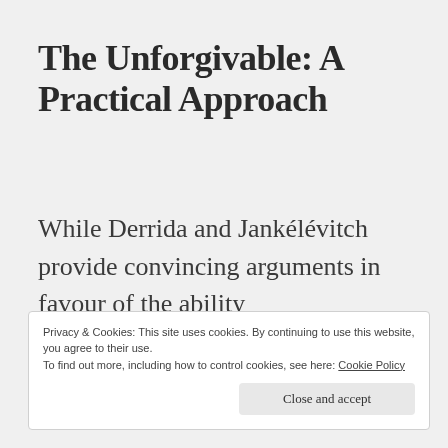The Unforgivable: A Practical Approach
While Derrida and Jankélévitch provide convincing arguments in favour of the ability to judge some acts as absolutely unforgivable,
Privacy & Cookies: This site uses cookies. By continuing to use this website, you agree to their use.
To find out more, including how to control cookies, see here: Cookie Policy
Close and accept